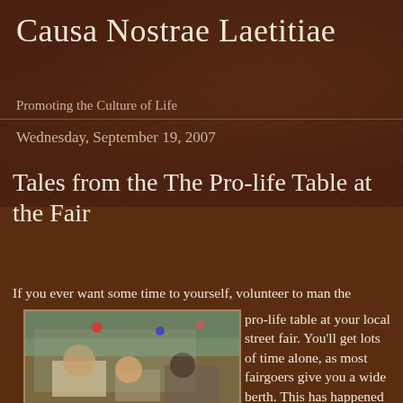Causa Nostrae Laetitiae
Promoting the Culture of Life
Wednesday, September 19, 2007
Tales from the The Pro-life Table at the Fair
[Figure (photo): People gathered at an outdoor fair around a pro-life table, with balloons visible in the background. A woman in white is seated at the table with children and other fairgoers nearby.]
If you ever want some time to yourself, volunteer to man the pro-life table at your local street fair. You'll get lots of time alone, as most fairgoers give you a wide berth. This has happened